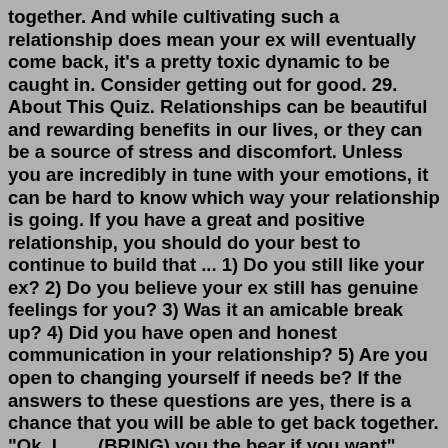together. And while cultivating such a relationship does mean your ex will eventually come back, it's a pretty toxic dynamic to be caught in. Consider getting out for good. 29. About This Quiz. Relationships can be beautiful and rewarding benefits in our lives, or they can be a source of stress and discomfort. Unless you are incredibly in tune with your emotions, it can be hard to know which way your relationship is going. If you have a great and positive relationship, you should do your best to continue to build that ... 1) Do you still like your ex? 2) Do you believe your ex still has genuine feelings for you? 3) Was it an amicable break up? 4) Did you have open and honest communication in your relationship? 5) Are you open to changing yourself if needs be? If the answers to these questions are yes, there is a chance that you will be able to get back together. "Ok. I ___ (BRING) you the bear if you want", said Dad. "And we'll also see the film about him as soon as I come back. Agreed?" "Sure."Usually, used to, be used to, get used to. Be sure to about habits, instances, and more to be...